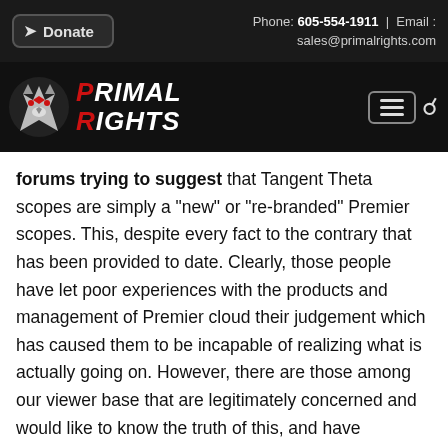Donate | Phone: 605-554-1911 | Email: sales@primalrights.com
[Figure (logo): Primal Rights logo with wolf graphic and white/red text on dark background]
forums trying to suggest that Tangent Theta scopes are simply a "new" or "re-branded" Premier scopes. This, despite every fact to the contrary that has been provided to date. Clearly, those people have let poor experiences with the products and management of Premier cloud their judgement which has caused them to be incapable of realizing what is actually going on. However, there are those among our viewer base that are legitimately concerned and would like to know the truth of this, and have unequivocal proof one way or the other. Take a look at the images above of the elevation turret from a Premier Heritage as compared